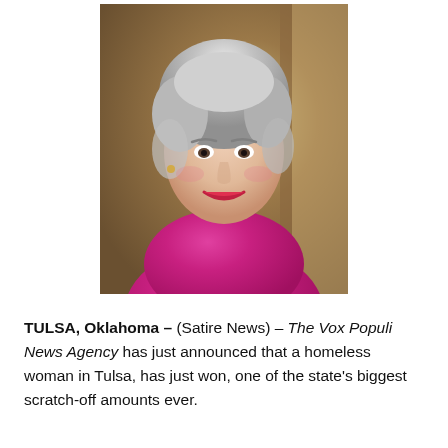[Figure (photo): Portrait photo of a smiling middle-aged woman with short silver/gray hair, wearing a bright pink/magenta blouse, red lipstick, against a warm background.]
TULSA, Oklahoma – (Satire News) – The Vox Populi News Agency has just announced that a homeless woman in Tulsa, has just won, one of the state's biggest scratch-off amounts ever.